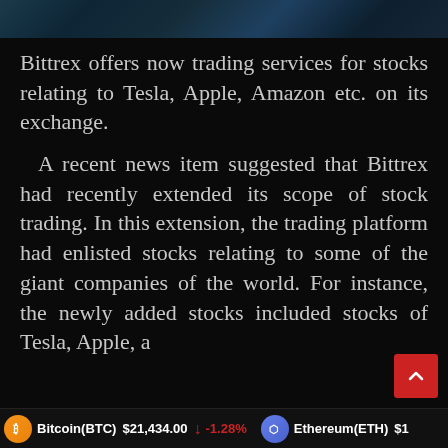[Figure (photo): Dark abstract image at top of page, appears to be a decorative header image with dark blue/teal tones]
Bittrex offers now trading services for stocks relating to Tesla, Apple, Amazon etc. on its exchange.
A recent news item suggested that Bittrex had recently extended its scope of stock trading. In this extension, the trading platform had enlisted stocks relating to some of the giant companies of the world. For instance, the newly added stocks included stocks of Tesla, Apple, a
Bitcoin(BTC) $21,434.00 ↓ -1.28%   Ethereum(ETH) $1...